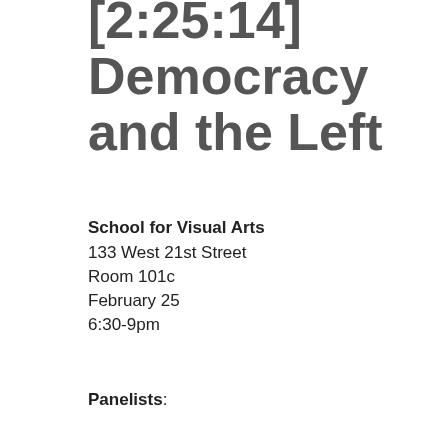[2:25:14] Democracy and the Left
School for Visual Arts
133 West 21st Street
Room 101c
February 25
6:30-9pm
Panelists:
Alan Akrivos (Socialist Alternative)
Dick Howard (Stony Brook)
Alan Milchman (Internationalist Perspective)
Joseph Schwartz (DSA)
Panel Description:
From the financial crisis and the bank